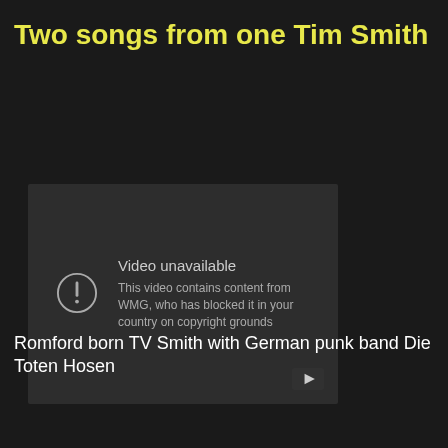Two songs from one Tim Smith
[Figure (screenshot): YouTube video unavailable screen showing error: 'Video unavailable. This video contains content from WMG, who has blocked it in your country on copyright grounds']
Romford born TV Smith with German punk band Die Toten Hosen
[Figure (screenshot): YouTube video thumbnail showing 'TV Smith - Tomah...' with channel icon and three-dot menu]